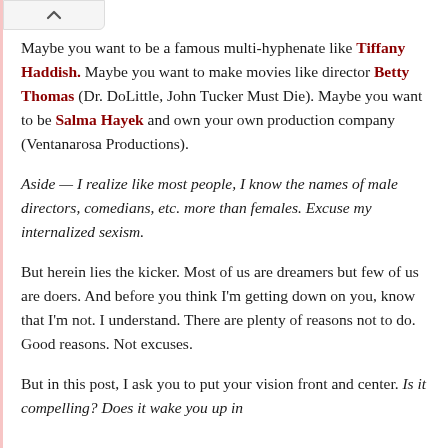Maybe you want to be a famous multi-hyphenate like Tiffany Haddish. Maybe you want to make movies like director Betty Thomas (Dr. DoLittle, John Tucker Must Die). Maybe you want to be Salma Hayek and own your own production company (Ventanarosa Productions).
Aside — I realize like most people, I know the names of male directors, comedians, etc. more than females. Excuse my internalized sexism.
But herein lies the kicker. Most of us are dreamers but few of us are doers. And before you think I'm getting down on you, know that I'm not. I understand. There are plenty of reasons not to do. Good reasons. Not excuses.
But in this post, I ask you to put your vision front and center. Is it compelling? Does it wake you up in